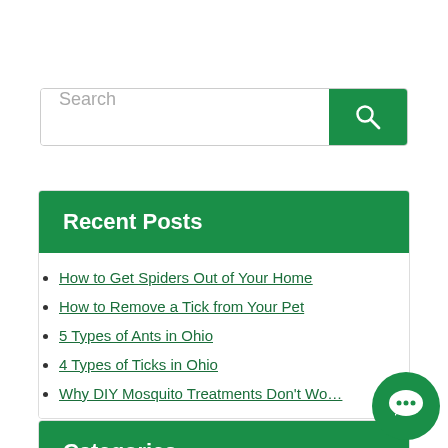[Figure (other): Search bar with green search button and magnifying glass icon]
Recent Posts
How to Get Spiders Out of Your Home
How to Remove a Tick from Your Pet
5 Types of Ants in Ohio
4 Types of Ticks in Ohio
Why DIY Mosquito Treatments Don't Wo…
Categories